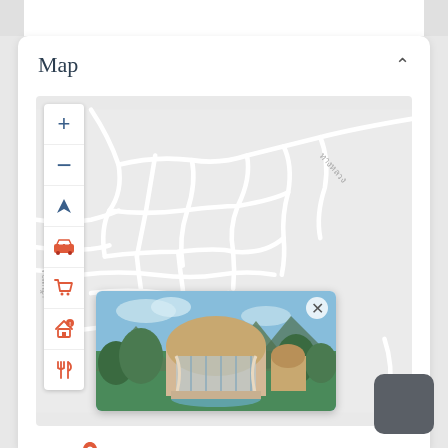Map
[Figure (map): Interactive street map with zoom controls (+/-), navigation arrow, car icon, shopping cart icon, house icon, and fork/knife icon on the left panel. Map shows road network in light grey on white background with Thai language street labels. A popup card shows a villa/resort property image with arched buildings among trees and mountains.]
Pa g Bay Sea View Co es